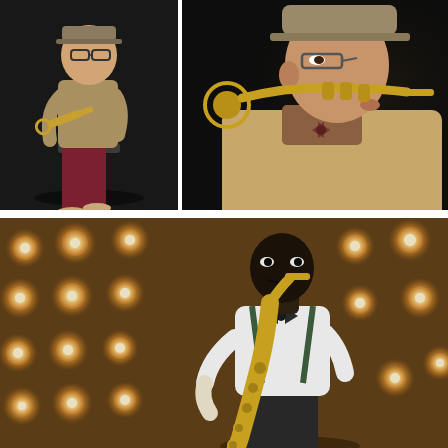[Figure (photo): Collage of three photos: top-left shows a man with glasses and a hat sitting on a stool playing a trumpet against a dark background wearing burgundy pants and a vest; top-right shows a close-up side profile of a man in a beige jacket and hat playing a golden trumpet against a black background; bottom shows a full-width photo of a Black man in a white shirt with suspenders and bow tie playing a saxophone on a stage with golden circular stage lights in the background.]